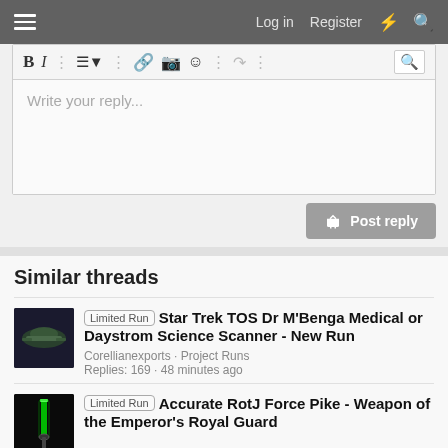Log in  Register
[Figure (screenshot): Forum text editor toolbar with Bold, Italic, list, link, image, emoji, undo, and preview buttons]
Write your reply...
Post reply
Similar threads
[Figure (photo): Thumbnail of a Star Trek spaceship on dark background]
Limited Run  Star Trek TOS Dr M'Benga Medical or Daystrom Science Scanner - New Run
Corellianexports · Project Runs
Replies: 169 · 48 minutes ago
[Figure (photo): Thumbnail of a green lightsaber on dark background]
Limited Run  Accurate RotJ Force Pike - Weapon of the Emperor's Royal Guard